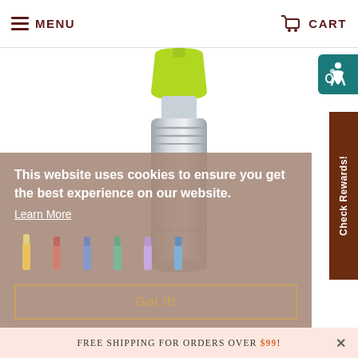MENU | CART
[Figure (photo): Stainless steel water bottle with lime green sport cap]
[Figure (illustration): Accessibility icon on teal background]
Check Rewards!
This website uses cookies to ensure you get the best experience on our website.
Learn More
Got it!
FREE SHIPPING FOR ORDERS OVER $99!